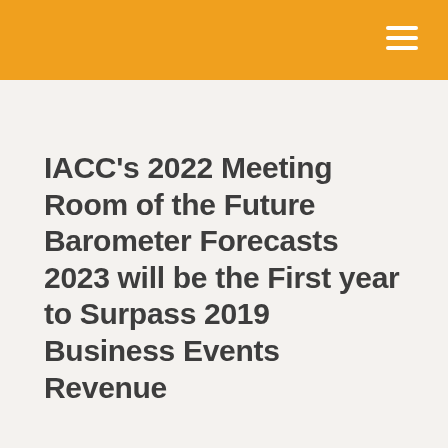IACC's 2022 Meeting Room of the Future Barometer Forecasts 2023 will be the First year to Surpass 2019 Business Events Revenue
Press Room > 2022